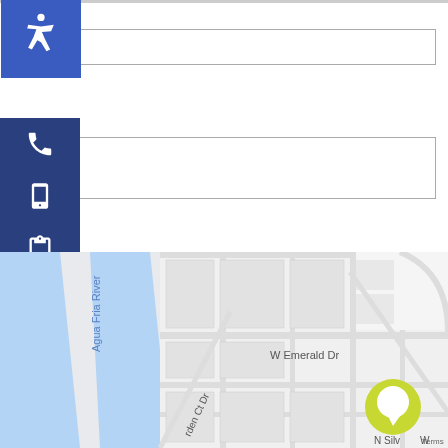Email *
Website
e my name, email, and website in this browser for the next time I comment.
Post Comment
Schedule a To
View Photo
Prices / Availabili
[Figure (map): Google map showing Agua Fria River area with streets including W Emerald Dr, N Thunderbird, N Silv, and garden Ct Dr. A yellow-green chat bubble icon is visible on the map.]